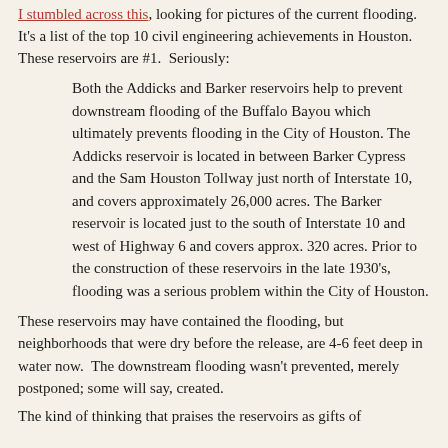I stumbled across this, looking for pictures of the current flooding. It's a list of the top 10 civil engineering achievements in Houston. These reservoirs are #1.  Seriously:
Both the Addicks and Barker reservoirs help to prevent downstream flooding of the Buffalo Bayou which ultimately prevents flooding in the City of Houston. The Addicks reservoir is located in between Barker Cypress and the Sam Houston Tollway just north of Interstate 10, and covers approximately 26,000 acres. The Barker reservoir is located just to the south of Interstate 10 and west of Highway 6 and covers approx. 320 acres. Prior to the construction of these reservoirs in the late 1930's, flooding was a serious problem within the City of Houston.
These reservoirs may have contained the flooding, but neighborhoods that were dry before the release, are 4-6 feet deep in water now.  The downstream flooding wasn't prevented, merely postponed; some will say, created.
The kind of thinking that praises the reservoirs as gifts of